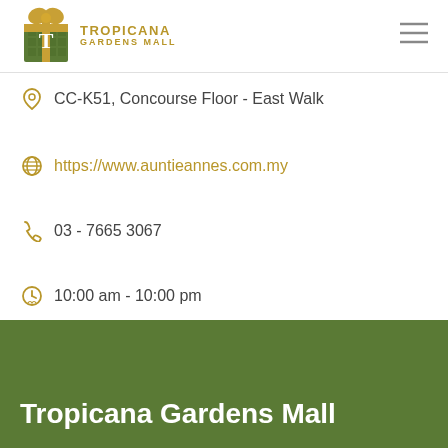TROPICANA GARDENS MALL
CC-K51, Concourse Floor - East Walk
https://www.auntieannes.com.my
03 - 7665 3067
10:00 am - 10:00 pm
Tropicana Gardens Mall